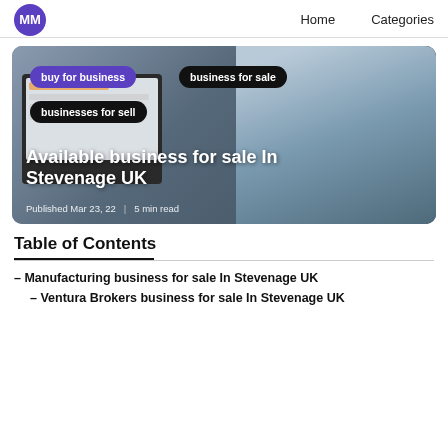MM  Home  Categories
[Figure (photo): Hero image with a man looking at a computer monitor. Tags overlay: 'buy for business', 'business for sale', 'businesses for sell'. Title: 'Available business for sale In Stevenage UK'. Meta: 'Published Mar 23, 22 | 5 min read']
Available business for sale In Stevenage UK
Published Mar 23, 22 | 5 min read
Table of Contents
– Manufacturing business for sale In Stevenage UK
– Ventura Brokers business for sale In Stevenage UK